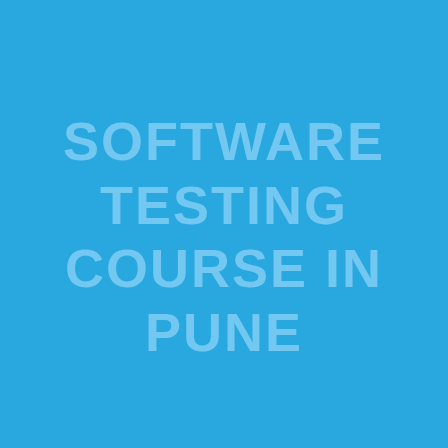SOFTWARE TESTING COURSE IN PUNE